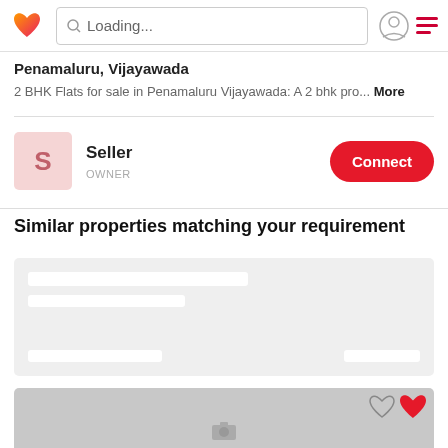Loading...
Penamaluru, Vijayawada
2 BHK Flats for sale in Penamaluru Vijayawada: A 2 bhk pro... More
Seller
OWNER
Connect
Similar properties matching your requirement
[Figure (screenshot): Loading skeleton card for a property listing]
[Figure (photo): Loading/placeholder image for a property photo with heart/favorite icons overlay]